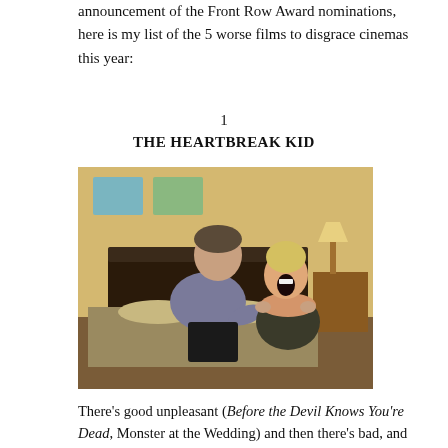announcement of the Front Row Award nominations, here is my list of the 5 worse films to disgrace cinemas this year:
1
THE HEARTBREAK KID
[Figure (photo): Movie still from The Heartbreak Kid showing a man in a grey t-shirt grabbing the shoulders of a woman in a strapless dress who is screaming, in a hotel room setting with a bed in the background.]
There's good unpleasant (Before the Devil Knows You're Dead, Monster at the Wedding) and then there's bad, and like